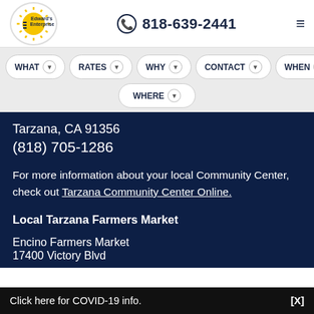[Figure (logo): Edward's Enterprises logo - circular with stylized E and sunburst rays]
818-639-2441
WHAT   RATES   WHY   CONTACT   WHEN   WHERE
Tarzana, CA 91356
(818) 705-1286
For more information about your local Community Center, check out Tarzana Community Center Online.
Local Tarzana Farmers Market
Encino Farmers Market
17400 Victory Blvd
Click here for COVID-19 info.